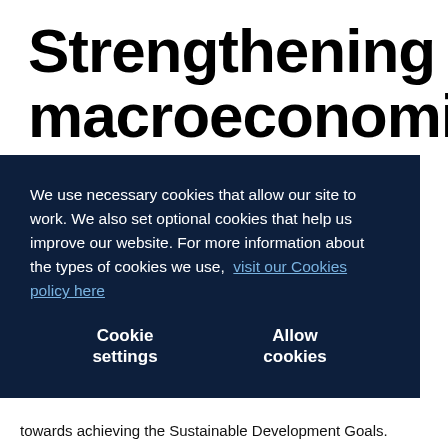Strengthening macroeconomic stability
We use necessary cookies that allow our site to work. We also set optional cookies that help us improve our website. For more information about the types of cookies we use, visit our Cookies policy here
Cookie settings    Allow cookies
towards achieving the Sustainable Development Goals.